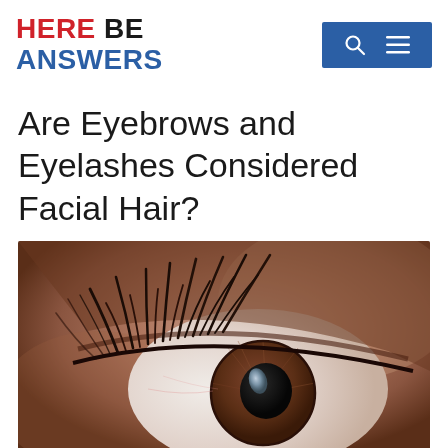HERE BE ANSWERS
Are Eyebrows and Eyelashes Considered Facial Hair?
[Figure (photo): Close-up macro photograph of a human eye with long eyelashes visible at the top, showing a brown iris and dark pupil with a small reflection.]